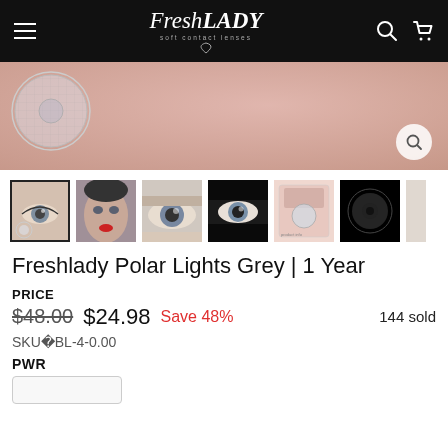FreshLADY soft contact lenses
[Figure (photo): Hero banner showing a contact lens on skin texture background with a pink/peach tone and magnifying glass icon]
[Figure (photo): Row of product thumbnail images showing eye with grey contact lens, model face, close-up eye shots, product packaging, and plain lens on black background]
Freshlady Polar Lights Grey | 1 Year
PRICE
$48.00  $24.98  Save 48%  144 sold
SKU�BL-4-0.00
PWR